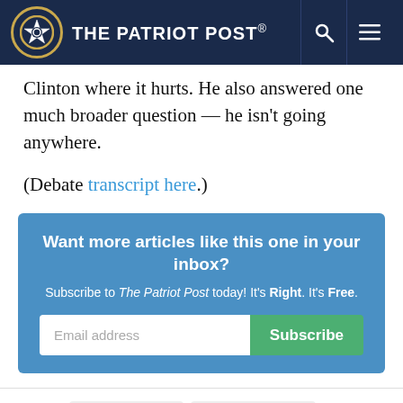The Patriot Post
Clinton where it hurts. He also answered one much broader question — he isn't going anywhere.
(Debate transcript here.)
Want more articles like this one in your inbox? Subscribe to The Patriot Post today! It's Right. It's Free.
TAGS: DONALD TRUMP  HILLARY CLINTON  2016 ELECTION  LEFTMEDIA  DEBATE